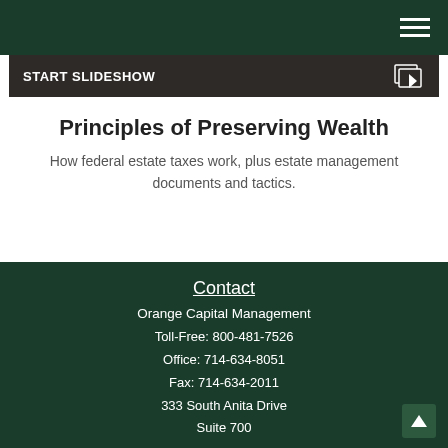[Figure (screenshot): START SLIDESHOW banner with play icon]
Principles of Preserving Wealth
How federal estate taxes work, plus estate management documents and tactics.
Contact
Orange Capital Management
Toll-Free: 800-481-7526
Office: 714-634-8051
Fax: 714-634-2011
333 South Anita Drive
Suite 700